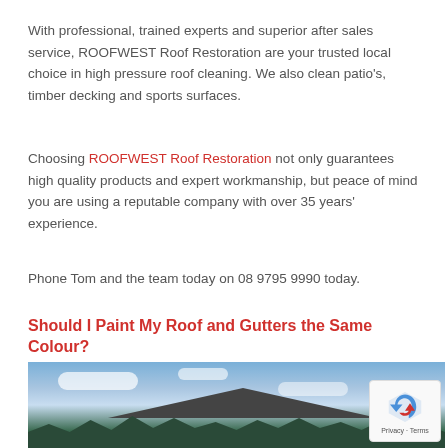With professional, trained experts and superior after sales service, ROOFWEST Roof Restoration are your trusted local choice in high pressure roof cleaning. We also clean patio's, timber decking and sports surfaces.
Choosing ROOFWEST Roof Restoration not only guarantees high quality products and expert workmanship, but peace of mind you are using a reputable company with over 35 years' experience.
Phone Tom and the team today on 08 9795 9990 today.
Should I Paint My Roof and Gutters the Same Colour?
[Figure (photo): Photo of a house roof with dark tiles against a blue sky with white clouds, trees visible in the foreground. A reCAPTCHA badge is visible in the bottom-right corner.]